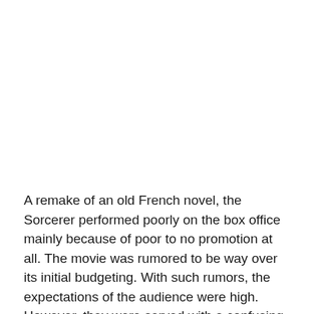A remake of an old French novel, the Sorcerer performed poorly on the box office mainly because of poor to no promotion at all. The movie was rumored to be way over its initial budgeting. With such rumors, the expectations of the audience were high. However, they were served with a confusing plot lacking a prologue (rumored to be deleted by the European distributor without the knowledge of the director), which